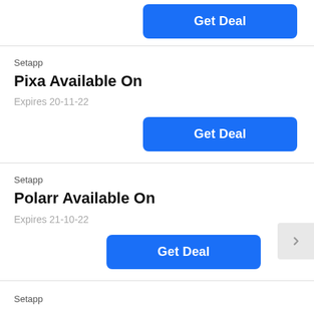[Figure (other): Get Deal button (partial top card, cropped)]
Setapp
Pixa Available On
Expires 20-11-22
[Figure (other): Get Deal button for Pixa]
Setapp
Polarr Available On
Expires 21-10-22
[Figure (other): Get Deal button for Polarr]
Setapp